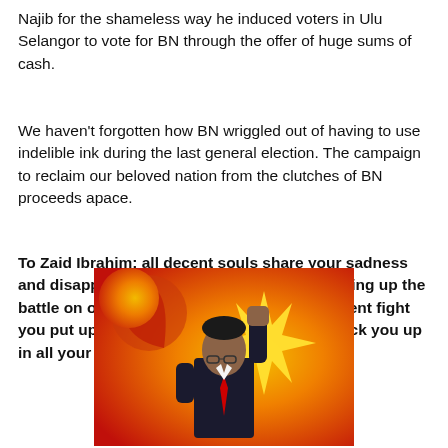Najib for the shameless way he induced voters in Ulu Selangor to vote for BN through the offer of huge sums of cash.
We haven't forgotten how BN wriggled out of having to use indelible ink during the last general election. The campaign to reclaim our beloved nation from the clutches of BN proceeds apace.
To Zaid Ibrahim: all decent souls share your sadness and disappointment and we thank you for taking up the battle on our behalf. It was indeed a magnificent fight you put up and we continue to steadfastly back you up in all your political endeavors.
[Figure (photo): A man in a dark suit with raised fist against a red and orange background featuring a crescent moon and star-burst symbol (Parti Keadilan Rakyat / PKR logo).]